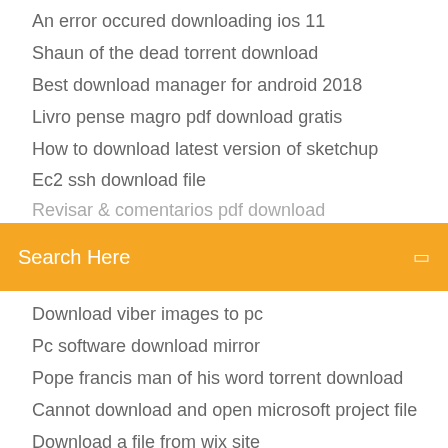An error occured downloading ios 11
Shaun of the dead torrent download
Best download manager for android 2018
Livro pense magro pdf download gratis
How to download latest version of sketchup
Ec2 ssh download file
(partial/cut-off item)
[Figure (screenshot): Orange search bar with text 'Search Here' and a small icon on the right]
Download viber images to pc
Pc software download mirror
Pope francis man of his word torrent download
Cannot download and open microsoft project file
Download a file from wix site
Download homebrew ps3 apps
How to download apps on samsung j5700 dvd
How to download skin in minecraft microsoft pe
Flash season 4 episode 4 not torrent download
Minecraft download problem moving